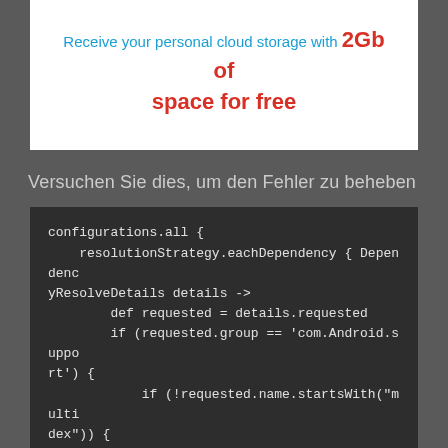[Figure (screenshot): White banner with text: 'Receive your personal cloud storage with 2Gb of space for free' — first part in blue, '2Gb of space for free' in red bold.]
Versuchen Sie dies, um den Fehler zu beheben
configurations.all {
    resolutionStrategy.eachDependency { DependencyResolveDetails details ->
        def requested = details.requested
        if (requested.group == 'com.Android.support') {
            if (!requested.name.startsWith("multidex")) {
                details.useVersion '25.3.0'
            }
        }
    }
}